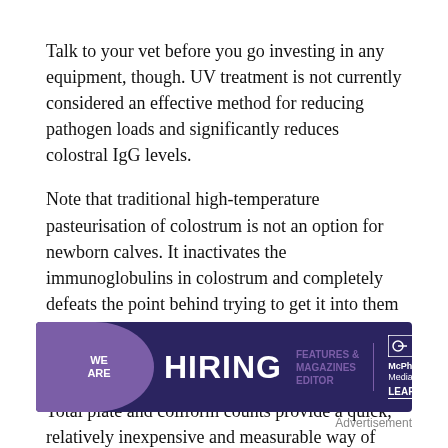Talk to your vet before you go investing in any equipment, though. UV treatment is not currently considered an effective method for reducing pathogen loads and significantly reduces colostral IgG levels.
Note that traditional high-temperature pasteurisation of colostrum is not an option for newborn calves. It inactivates the immunoglobulins in colostrum and completely defeats the point behind trying to get it into them so quickly.
Monitor and review
Total plate and coliform counts provide a quick, relatively inexpensive and measurable way of determining the bacterial load in a colostrum, milk or water sample using
[Figure (infographic): Advertisement banner with dark navy background. Purple blob on left with 'WE ARE' text. Large white bold 'HIRING' text. Job details: FEATURES & MAGAZINES EDITOR. McPherson Media Group logo with LEARN MORE link.]
Advertisement